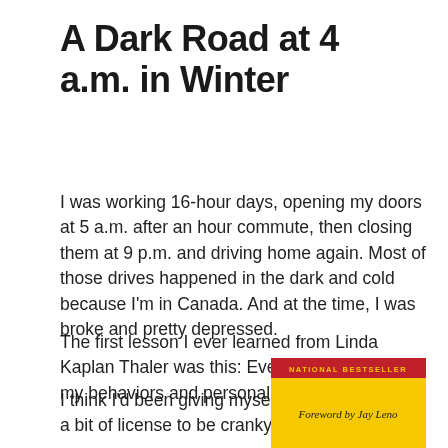A Dark Road at 4 a.m. in Winter
I was working 16-hour days, opening my doors at 5 a.m. after an hour commute, then closing them at 9 p.m. and driving home again. Most of those drives happened in the dark and cold because I'm in Canada. And at the time, I was broke and pretty depressed.
The first lesson I ever learned from Linda Kaplan Thaler was this: Everything flowed from my behaviors and personality.
I think I'd been giving myself a bit of license to be cranky
[Figure (illustration): Book cover with red banner reading 'NATIONAL BESTSELLER', yellow background, italic text 'Foreword by Jay Leno']